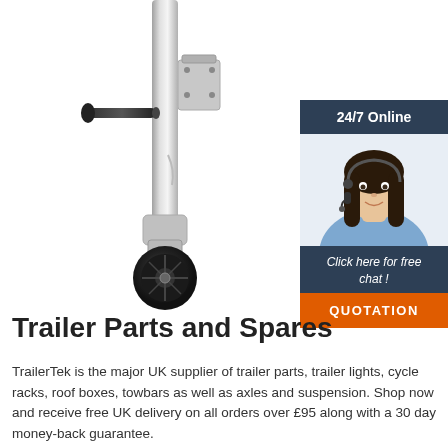[Figure (photo): Trailer jockey wheel / swivel jack with black rubber wheel and galvanized steel shaft with mounting bracket and handle]
[Figure (photo): Customer service representative woman wearing headset smiling, with dark hair, overlaid on a dark blue sidebar panel. Sidebar contains '24/7 Online' header text, 'Click here for free chat!' text, and an orange 'QUOTATION' button.]
Trailer Parts and Spares
TrailerTek is the major UK supplier of trailer parts, trailer lights, cycle racks, roof boxes, towbars as well as axles and suspension. Shop now and receive free UK delivery on all orders over £95 along with a 30 day money-back guarantee.